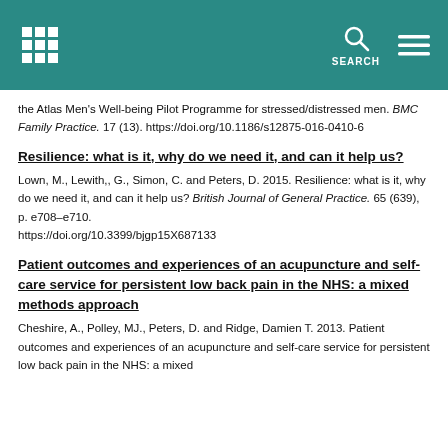SEARCH
the Atlas Men's Well-being Pilot Programme for stressed/distressed men. BMC Family Practice. 17 (13). https://doi.org/10.1186/s12875-016-0410-6
Resilience: what is it, why do we need it, and can it help us?
Lown, M., Lewith,, G., Simon, C. and Peters, D. 2015. Resilience: what is it, why do we need it, and can it help us? British Journal of General Practice. 65 (639), p. e708–e710. https://doi.org/10.3399/bjgp15X687133
Patient outcomes and experiences of an acupuncture and self-care service for persistent low back pain in the NHS: a mixed methods approach
Cheshire, A., Polley, MJ., Peters, D. and Ridge, Damien T. 2013. Patient outcomes and experiences of an acupuncture and self-care service for persistent low back pain in the NHS: a mixed